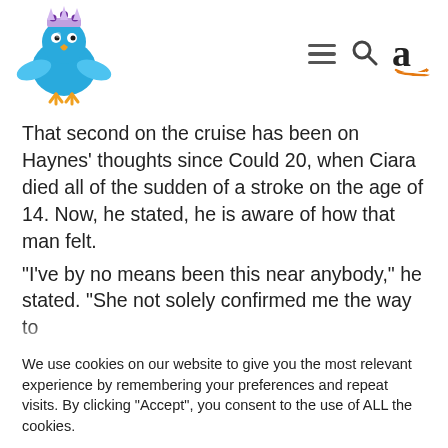[Figure (logo): Blue cartoon bird with a crown wearing a tiara, website logo]
[Figure (other): Navigation icons: hamburger menu, search magnifier, Amazon 'a' logo]
That second on the cruise has been on Haynes' thoughts since Could 20, when Ciara died all of the sudden of a stroke on the age of 14. Now, he stated, he is aware of how that man felt.
“I’ve by no means been this near anybody,” he stated. “She not solely confirmed me the way to
We use cookies on our website to give you the most relevant experience by remembering your preferences and repeat visits. By clicking “Accept”, you consent to the use of ALL the cookies.
Do not sell my personal information.
Cookie Settings
Accept